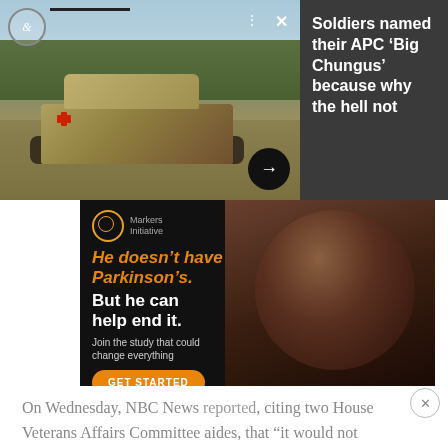[Figure (photo): Military APC (armored personnel carrier) tank with soldiers on top, in a field setting with trees in background. A red cross is visible on the side. Navigation bar overlay at top with logo circle and horizontal line.]
Soldiers named their APC ‘Big Chungus’ because why the hell not
[Figure (photo): Advertisement for Parkinson's disease research study (Markers Initiative). Dark background with close-up face of an older Black man. Orange and white text: 'He doesn’t have Parkinson’s. But he can help end it. Join the study that could change everything.' Orange GET STARTED button.]
On Wednesday, NBC News reported, citing two House Veterans Affairs Committee aides, that “it would not